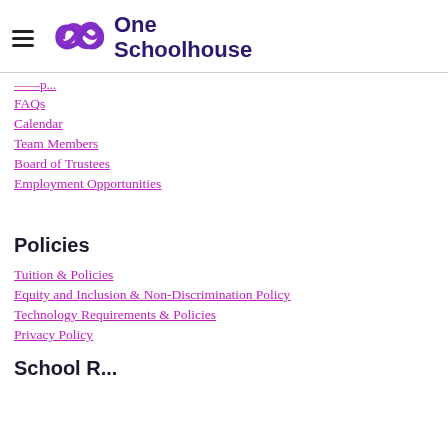[Figure (logo): One Schoolhouse logo with purple infinity-style icon and bold dark blue text reading 'One Schoolhouse']
FAQs
Calendar
Team Members
Board of Trustees
Employment Opportunities
Policies
Tuition & Policies
Equity and Inclusion & Non-Discrimination Policy
Technology Requirements & Policies
Privacy Policy